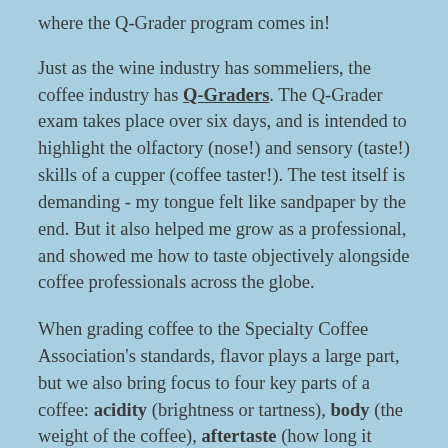where the Q-Grader program comes in!
Just as the wine industry has sommeliers, the coffee industry has Q-Graders. The Q-Grader exam takes place over six days, and is intended to highlight the olfactory (nose!) and sensory (taste!) skills of a cupper (coffee taster!). The test itself is demanding - my tongue felt like sandpaper by the end. But it also helped me grow as a professional, and showed me how to taste objectively alongside coffee professionals across the globe.
When grading coffee to the Specialty Coffee Association's standards, flavor plays a large part, but we also bring focus to four key parts of a coffee: acidity (brightness or tartness), body (the weight of the coffee), aftertaste (how long it lingers),